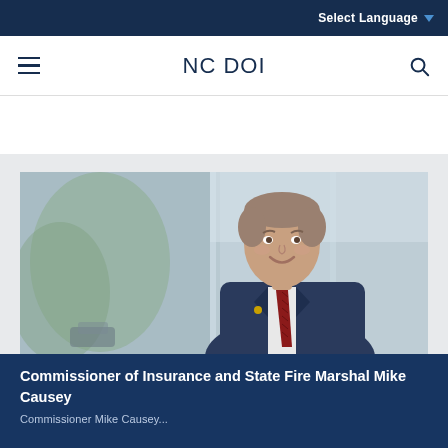Select Language
NC DOI
[Figure (photo): Official portrait photo of Commissioner Mike Causey in a dark suit and red tie, smiling, standing in front of large windows with a blurred outdoor background.]
Commissioner of Insurance and State Fire Marshal Mike Causey
Commissioner Mike Causey...